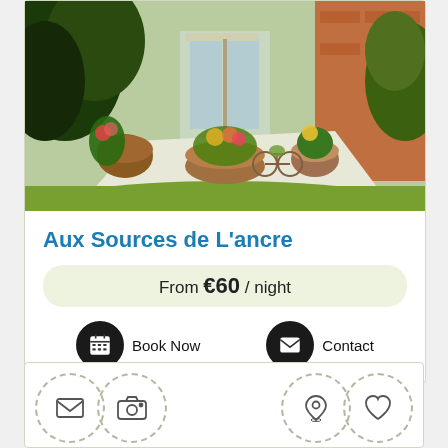[Figure (photo): Outdoor garden photo showing potted plants, flower arrangements, a bicycle planter, green lawn, and a building entrance with glass doors and brick walls.]
Aux Sources de L'ancre
From €60 / night
Book Now
Contact
[Figure (infographic): Navigation row with four icon buttons in dashed circles: envelope/mail, camera/photos, map pin/location, heart/favorites.]